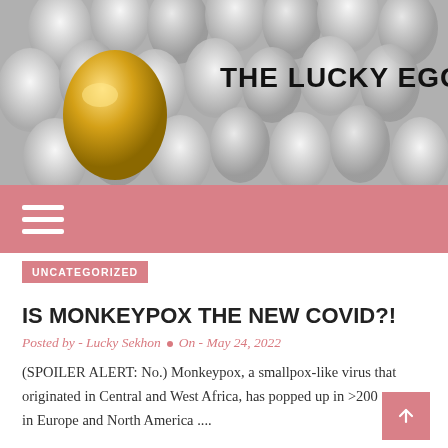[Figure (photo): Header image of many white eggs with one golden egg in the foreground, with site logo 'THE LUCKY EGG' overlaid in bold black text]
THE LUCKY EGG
≡ (hamburger menu icon on pink/rose navigation bar)
UNCATEGORIZED
IS MONKEYPOX THE NEW COVID?!
Posted by - Lucky Sekhon • On - May 24, 2022
(SPOILER ALERT: No.) Monkeypox, a smallpox-like virus that originated in Central and West Africa, has popped up in >200 cases in Europe and North America ....